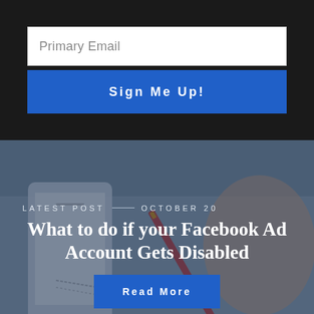Primary Email
Sign Me Up!
LATEST POST — OCTOBER 20
What to do if your Facebook Ad Account Gets Disabled
Read More